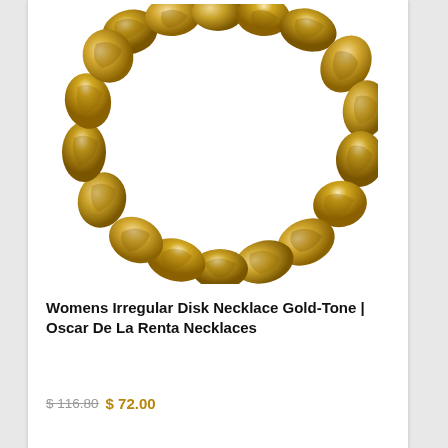[Figure (photo): Gold-tone irregular disk necklace by Oscar De La Renta, shown from above with the chain forming a rounded shape. The necklace features multiple polished gold nugget/pebble-shaped links with reflective surfaces.]
Womens Irregular Disk Necklace Gold-Tone | Oscar De La Renta Necklaces
$ 116.80 $ 72.00